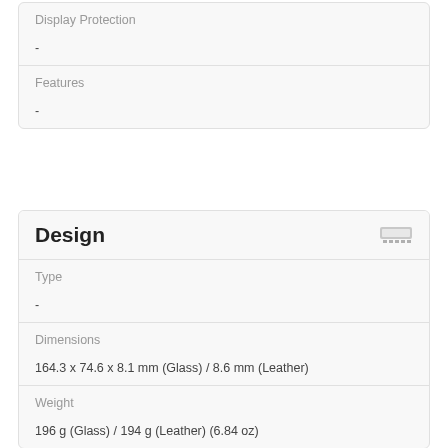| Display Protection | - |
| Features | - |
Design
| Type | - |
| Dimensions | 164.3 x 74.6 x 8.1 mm (Glass) / 8.6 mm (Leather) |
| Weight | 196 g (Glass) / 194 g (Leather) (6.84 oz) |